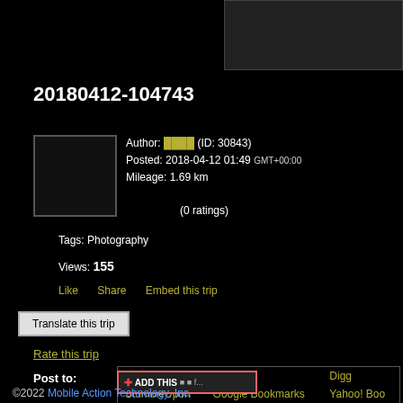[Figure (photo): Dark image placeholder in top right corner]
20180412-104743
Author: ████ (ID: 30843)
Posted: 2018-04-12 01:49 GMT+00:00
Mileage: 1.69 km
(0 ratings)
Tags: Photography
Views: 155
Like   Share   Embed this trip
Translate this trip
Rate this trip
Post to: Facebook   MySpace   Digg   StumbleUpon   Google Bookmarks   Yahoo! Boo...   FunP   HEMiDEMi
©2022 Mobile Action Technology, Inc.